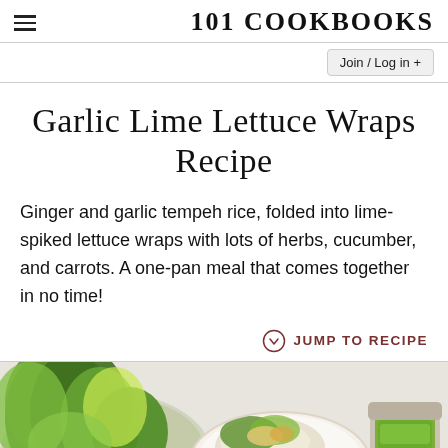101 COOKBOOKS
Join / Log in +
Garlic Lime Lettuce Wraps Recipe
Ginger and garlic tempeh rice, folded into lime-spiked lettuce wraps with lots of herbs, cucumber, and carrots. A one-pan meal that comes together in no time!
JUMP TO RECIPE
[Figure (photo): Overhead photo of lettuce wraps ingredients: bowl of green lettuce leaves on left, assembled lettuce wrap on white plate in center, jar of green herb sauce on right, on a white marble surface]